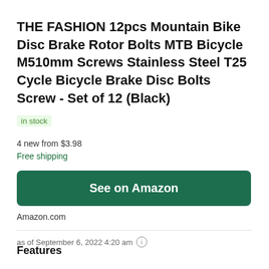THE FASHION 12pcs Mountain Bike Disc Brake Rotor Bolts MTB Bicycle M510mm Screws Stainless Steel T25 Cycle Bicycle Brake Disc Bolts Screw - Set of 12 (Black)
in stock
4 new from $3.98
Free shipping
See on Amazon
Amazon.com
as of September 6, 2022 4:20 am
Features